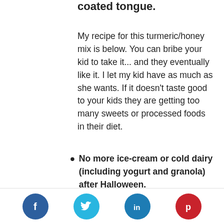coated tongue.
My recipe for this turmeric/honey mix is below. You can bribe your kid to take it... and they eventually like it. I let my kid have as much as she wants. If it doesn't taste good to your kids they are getting too many sweets or processed foods in their diet.
No more ice-cream or cold dairy (including yogurt and granola) after Halloween.
Social share icons: Facebook, Twitter, LinkedIn, Pinterest